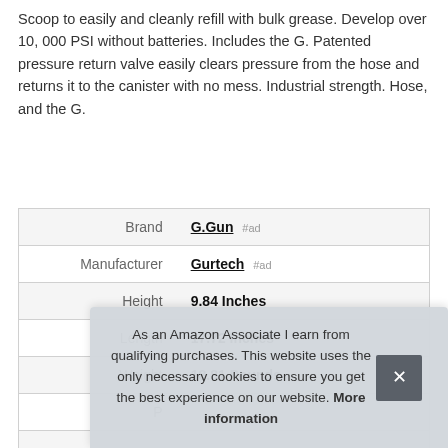Scoop to easily and cleanly refill with bulk grease. Develop over 10, 000 PSI without batteries. Includes the G. Patented pressure return valve easily clears pressure from the hose and returns it to the canister with no mess. Industrial strength. Hose, and the G.
| Brand | G.Gun #ad |
| Manufacturer | Gurtech #ad |
| Height | 9.84 Inches |
| Length | 17.72 Inches |
| Weight | 18.81 Pounds |
| P |  |
As an Amazon Associate I earn from qualifying purchases. This website uses the only necessary cookies to ensure you get the best experience on our website. More information